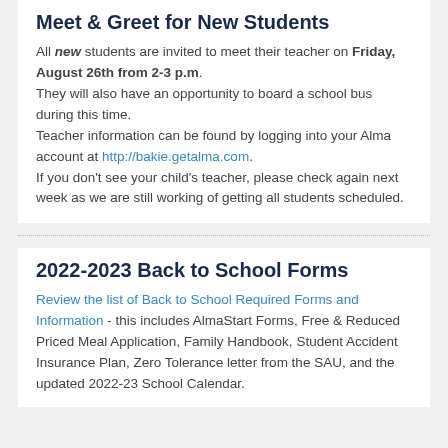Meet & Greet for New Students
All new students are invited to meet their teacher on Friday, August 26th from 2-3 p.m. They will also have an opportunity to board a school bus during this time. Teacher information can be found by logging into your Alma account at http://bakie.getalma.com. If you don't see your child's teacher, please check again next week as we are still working of getting all students scheduled.
2022-2023 Back to School Forms
Review the list of Back to School Required Forms and Information - this includes AlmaStart Forms, Free & Reduced Priced Meal Application, Family Handbook, Student Accident Insurance Plan, Zero Tolerance letter from the SAU, and the updated 2022-23 School Calendar.